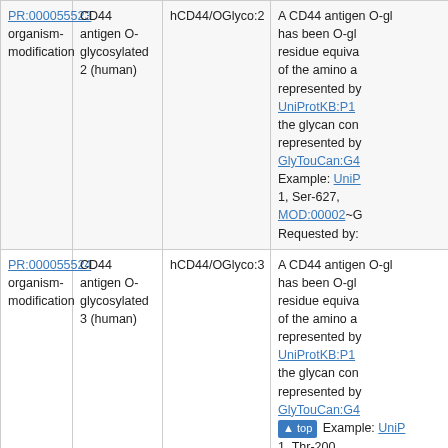| ID | Name | Short Name | Description |
| --- | --- | --- | --- |
| PR:000055523
organism-modification | CD44 antigen O-glycosylated 2 (human) | hCD44/OGlyco:2 | A CD44 antigen O-gl... has been O-gl... residue equiva... of the amino a... represented by UniProtKB:P1... the glycan con... represented by GlyTouCan:G4... Example: UniP... 1, Ser-627, MOD:00002~G... Requested by: |
| PR:000055524
organism-modification | CD44 antigen O-glycosylated 3 (human) | hCD44/OGlyco:3 | A CD44 antigen O-gl... has been O-gl... residue equiva... of the amino a... represented by UniProtKB:P1... the glycan con... represented by GlyTouCan:G4... Example: UniP... 1, Thr-200, |